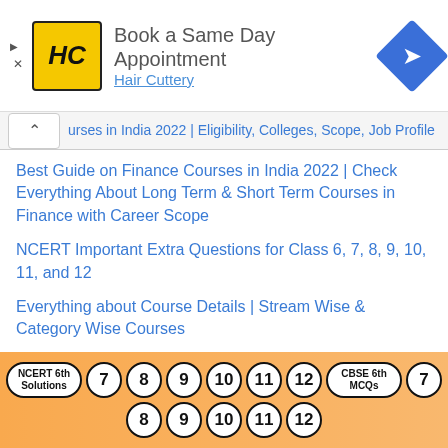[Figure (screenshot): Advertisement banner for Hair Cuttery with HC logo, 'Book a Same Day Appointment' text, and navigation diamond icon]
urses in India 2022 | Eligibility, Colleges, Scope, Job Profile
Best Guide on Finance Courses in India 2022 | Check Everything About Long Term & Short Term Courses in Finance with Career Scope
NCERT Important Extra Questions for Class 6, 7, 8, 9, 10, 11, and 12
Everything about Course Details | Stream Wise & Category Wise Courses
Top Engineering Courses for a Secured
[Figure (screenshot): Bottom navigation bar with pill-shaped buttons: NCERT 6th Solutions, 7, 8, 9, 10, 11, 12, CBSE 6th MCQs, 7 in first row; 8, 9, 10, 11, 12 in second row]